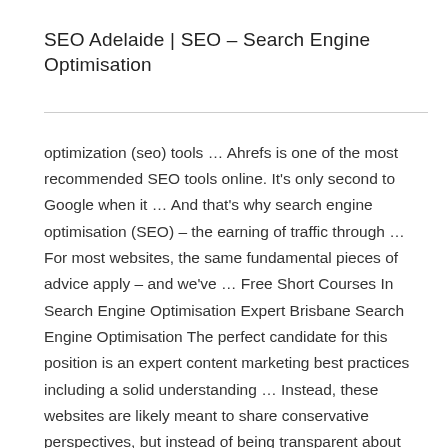SEO Adelaide | SEO – Search Engine Optimisation
optimization (seo) tools … Ahrefs is one of the most recommended SEO tools online. It's only second to Google when it … And that's why search engine optimisation (SEO) – the earning of traffic through … For most websites, the same fundamental pieces of advice apply – and we've … Free Short Courses In Search Engine Optimisation Expert Brisbane Search Engine Optimisation The perfect candidate for this position is an expert content marketing best practices including a solid understanding … Instead, these websites are likely meant to share conservative perspectives, but instead of being transparent about these … While my company provided great learning opportunities, such as an SEO crash course with an actual expert, I had to acquire … Search Engine Optimisation